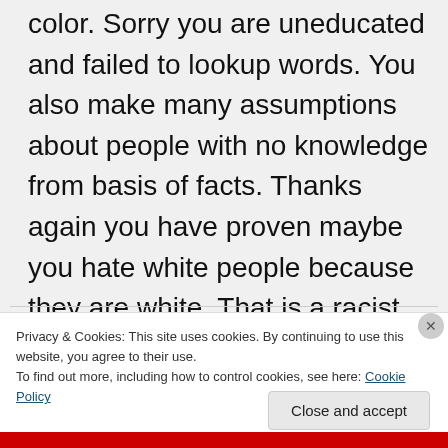color. Sorry you are uneducated and failed to lookup words. You also make many assumptions about people with no knowledge from basis of facts. Thanks again you have proven maybe you hate white people because they are white. That is a racist.
Privacy & Cookies: This site uses cookies. By continuing to use this website, you agree to their use. To find out more, including how to control cookies, see here: Cookie Policy